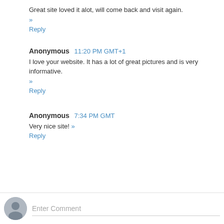Great site loved it alot, will come back and visit again.
»
Reply
Anonymous  11:20 PM GMT+1
I love your website. It has a lot of great pictures and is very informative.
»
Reply
Anonymous  7:34 PM GMT
Very nice site! »
Reply